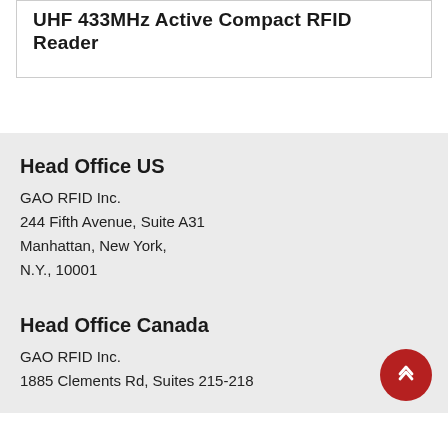UHF 433MHz Active Compact RFID Reader
Head Office US
GAO RFID Inc.
244 Fifth Avenue, Suite A31
Manhattan, New York,
N.Y., 10001
Head Office Canada
GAO RFID Inc.
1885 Clements Rd, Suites 215-218